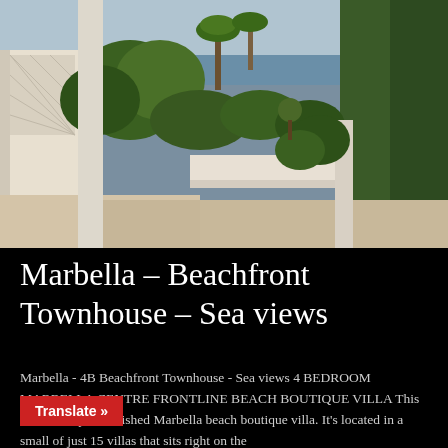[Figure (photo): Outdoor terrace/patio of a beachfront townhouse in Marbella, showing white walls, lush green vegetation, palm trees in the background, and a glimpse of the sea/sky through the garden.]
Marbella – Beachfront Townhouse – Sea views
Marbella - 4B Beachfront Townhouse - Sea views 4 BEDROOM MARBELLA CENTRE FRONTLINE BEACH BOUTIQUE VILLA This is a recently refurbished Marbella beach boutique villa. It's located in a small of just 15 villas that sits right on the